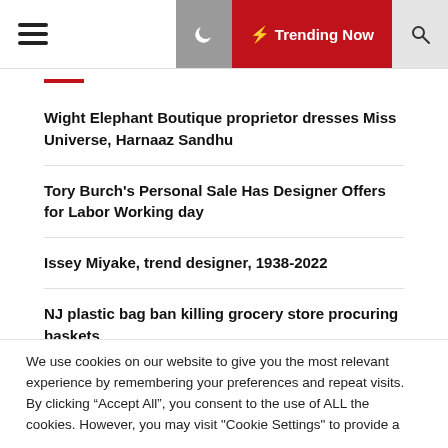Trending Now
Wight Elephant Boutique proprietor dresses Miss Universe, Harnaaz Sandhu
Tory Burch's Personal Sale Has Designer Offers for Labor Working day
Issey Miyake, trend designer, 1938-2022
NJ plastic bag ban killing grocery store procuring baskets
With timeless layouts and nostalgic add-ons, Sounder is supplying golf its soul back again | Golf Equipment: Golf
We use cookies on our website to give you the most relevant experience by remembering your preferences and repeat visits. By clicking “Accept All”, you consent to the use of ALL the cookies. However, you may visit "Cookie Settings" to provide a